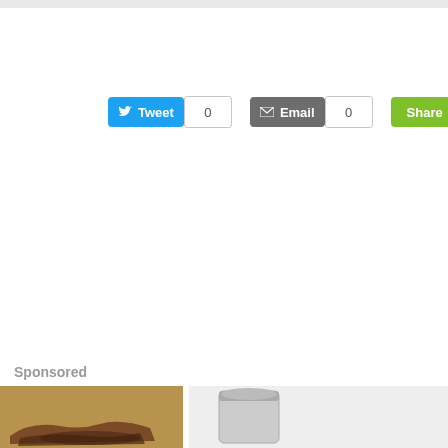[Figure (screenshot): Social sharing buttons: Tweet button (blue) with count 0, Email button (gray) with count 0, Share button (green, partially cropped)]
Sponsored
[Figure (photo): Two sponsored content images at bottom: left shows sandals on sandy/map background, right shows a glass jar on white background]